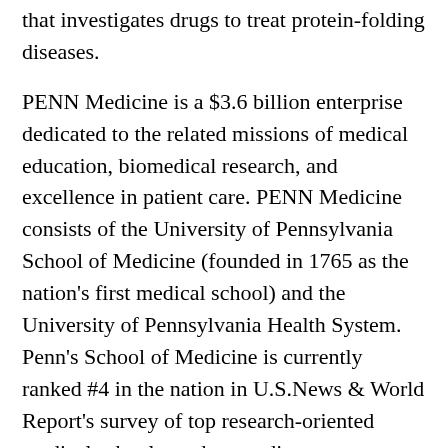that investigates drugs to treat protein-folding diseases.
PENN Medicine is a $3.6 billion enterprise dedicated to the related missions of medical education, biomedical research, and excellence in patient care. PENN Medicine consists of the University of Pennsylvania School of Medicine (founded in 1765 as the nation's first medical school) and the University of Pennsylvania Health System. Penn's School of Medicine is currently ranked #4 in the nation in U.S.News & World Report's survey of top research-oriented medical schools; and, according to most recent data from the National Institutes of Health, received over $379 million in NIH research funds in the 2006 fiscal year. Supporting 1,700 fulltime faculty and 700 students, the School of Medicine is recognized worldwide for its superior education and training of the next generation of physician-scientists and leaders of academic medicine. The University of Pennsylvania Health System (UPHS) includes its flagship hospital, the Hospital